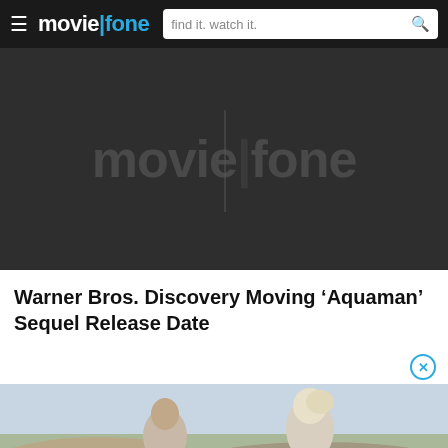moviefone — find it. watch it.
[Figure (logo): Moviefone advertisement banner placeholder with large semi-transparent moviefone logo on dark background]
Warner Bros. Discovery Moving ‘Aquaman’ Sequel Release Date
[Figure (photo): Two people outdoors, one with light/blonde hair, against a sandy and sky background]